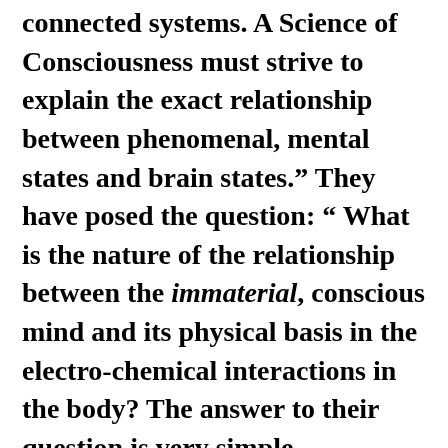connected systems. A Science of Consciousness must strive to explain the exact relationship between phenomenal, mental states and brain states.” They have posed the question: “ What is the nature of the relationship between the immaterial, conscious mind and its physical basis in the electro-chemical interactions in the body? The answer to their question is very simple. Consciousness is related to a material substance that is called Protoplasm and electro-chemical